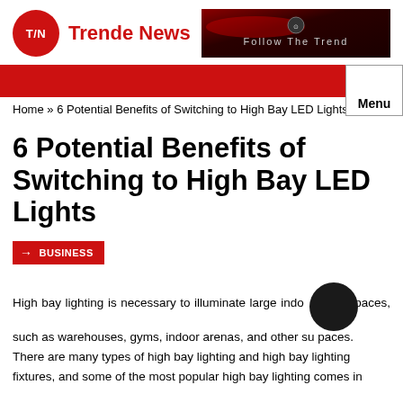T/N Trende News
[Figure (screenshot): Advertisement banner with red/black gradient background and text 'Follow The Trend' with a small logo]
Home » 6 Potential Benefits of Switching to High Bay LED Lights
6 Potential Benefits of Switching to High Bay LED Lights
→ BUSINESS
High bay lighting is necessary to illuminate large indoor spaces, such as warehouses, gyms, indoor arenas, and other such spaces. There are many types of high bay lighting and high bay lighting fixtures, and some of the most popular high bay lighting comes in